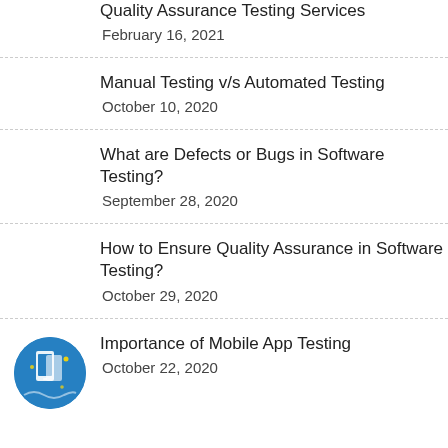Quality Assurance Testing Services
February 16, 2021
Manual Testing v/s Automated Testing
October 10, 2020
What are Defects or Bugs in Software Testing?
September 28, 2020
How to Ensure Quality Assurance in Software Testing?
October 29, 2020
[Figure (illustration): Blue circular thumbnail icon with mobile app testing illustration]
Importance of Mobile App Testing
October 22, 2020